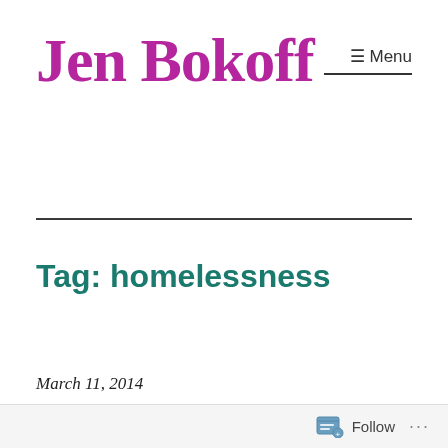Jen Bokoff
Tag: homelessness
March 11, 2014
Follow